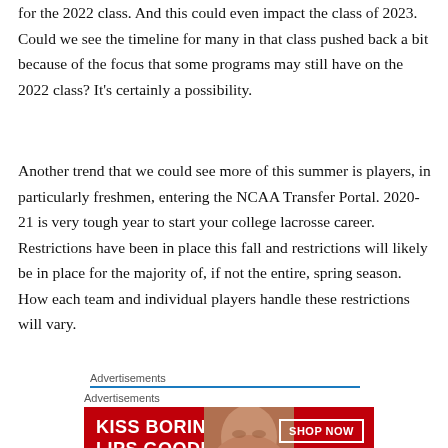for the 2022 class. And this could even impact the class of 2023. Could we see the timeline for many in that class pushed back a bit because of the focus that some programs may still have on the 2022 class? It's certainly a possibility.
Another trend that we could see more of this summer is players, in particularly freshmen, entering the NCAA Transfer Portal. 2020-21 is very tough year to start your college lacrosse career. Restrictions have been in place this fall and restrictions will likely be in place for the majority of, if not the entire, spring season. How each team and individual players handle these restrictions will vary.
Advertisements
[Figure (other): Advertisement banner for Macy's with text 'KISS BORING LIPS GOODBYE' and 'SHOP NOW' button with Macy's logo on red background with woman's face]